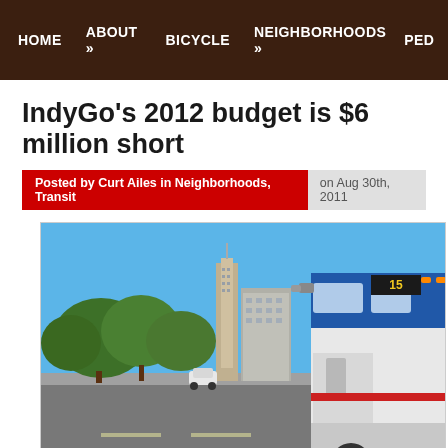HOME   ABOUT »   BICYCLE   NEIGHBORHOODS »   PED
IndyGo's 2012 budget is $6 million short
Posted by Curt Ailes in Neighborhoods, Transit   on Aug 30th, 2011
[Figure (photo): An IndyGo bus (route 15) parked near downtown Indianapolis with the city skyline and trees visible in the background. Blue sky overhead, urban street scene.]